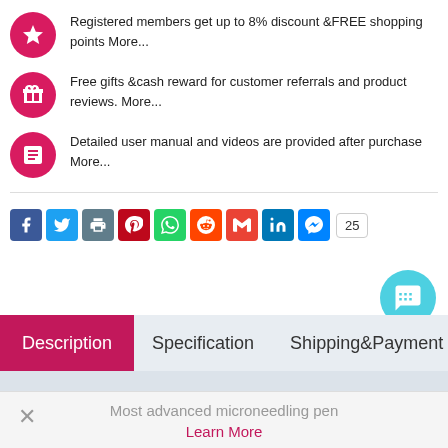Registered members get up to 8% discount &FREE shopping points More...
Free gifts &cash reward for customer referrals and product reviews. More...
Detailed user manual and videos are provided after purchase More...
[Figure (other): Row of social media sharing icons (Facebook, Twitter, print, Pinterest, WhatsApp, Reddit, Gmail, LinkedIn, Messenger) and a share count of 25]
Description   Specification   Shipping&Payment   Reviews   Tags   Product Questions
Most advanced microneedling pen
Learn More